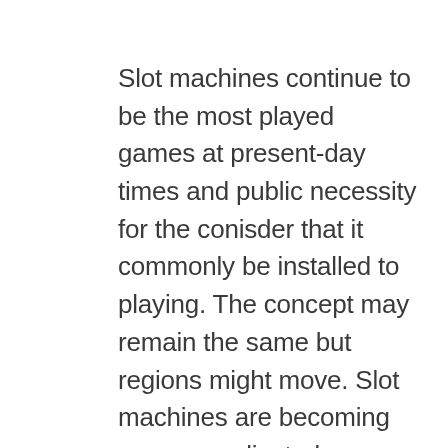Slot machines continue to be the most played games at present-day times and public necessity for the conisder that it commonly be installed to playing. The concept may remain the same but regions might move. Slot machines are becoming more complicated as technology advances, Online Slots are starting to obtain the attention quite a few people.
Deciding an amount of cash to be invested hanging around is very crucial as it helps the gamers limit themselves in case they lose the bets. Besides, it is very vital that sign up with a slot machine game provider which usually genuine. In fact, essential to pick the best website. 1 finds a site s/he is about to make big money. A good slot machine site will also